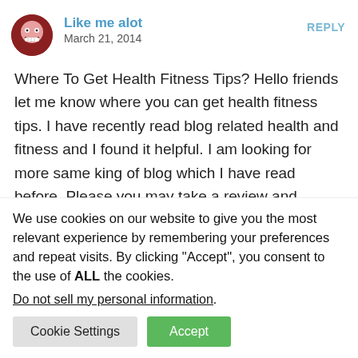Like me alot
March 21, 2014
REPLY
Where To Get Health Fitness Tips? Hello friends let me know where you can get health fitness tips. I have recently read blog related health and fitness and I found it helpful. I am looking for more same king of blog which I have read before. Please you may take a review and suggest me more. Thanks!
We use cookies on our website to give you the most relevant experience by remembering your preferences and repeat visits. By clicking “Accept”, you consent to the use of ALL the cookies.
Do not sell my personal information.